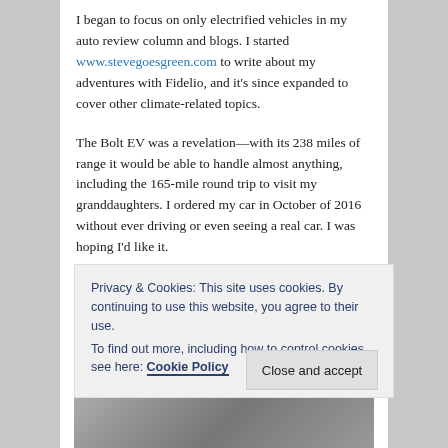I began to focus on only electrified vehicles in my auto review column and blogs. I started www.stevegoesgreen.com to write about my adventures with Fidelio, and it's since expanded to cover other climate-related topics.
The Bolt EV was a revelation—with its 238 miles of range it would be able to handle almost anything, including the 165-mile round trip to visit my granddaughters. I ordered my car in October of 2016 without ever driving or even seeing a real car. I was hoping I'd like it.
I impatiently waited for delivery, and finally, the very first week of 2017, I got the phone call that my Bolt was on the
Privacy & Cookies: This site uses cookies. By continuing to use this website, you agree to their use.
To find out more, including how to control cookies, see here: Cookie Policy
Close and accept
[Figure (photo): Partial bottom image, partially obscured by cookie banner]